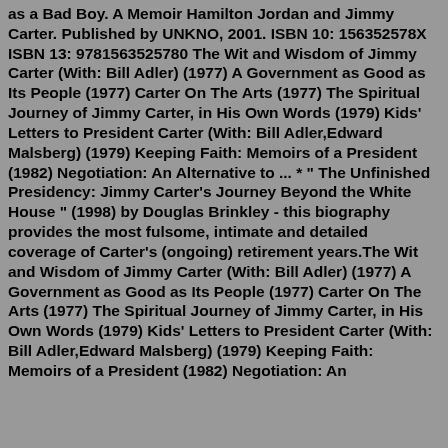as a Bad Boy. A Memoir Hamilton Jordan and Jimmy Carter. Published by UNKNO, 2001. ISBN 10: 156352578X ISBN 13: 9781563525780 The Wit and Wisdom of Jimmy Carter (With: Bill Adler) (1977) A Government as Good as Its People (1977) Carter On The Arts (1977) The Spiritual Journey of Jimmy Carter, in His Own Words (1979) Kids' Letters to President Carter (With: Bill Adler,Edward Malsberg) (1979) Keeping Faith: Memoirs of a President (1982) Negotiation: An Alternative to ... * " The Unfinished Presidency: Jimmy Carter's Journey Beyond the White House " (1998) by Douglas Brinkley - this biography provides the most fulsome, intimate and detailed coverage of Carter's (ongoing) retirement years.The Wit and Wisdom of Jimmy Carter (With: Bill Adler) (1977) A Government as Good as Its People (1977) Carter On The Arts (1977) The Spiritual Journey of Jimmy Carter, in His Own Words (1979) Kids' Letters to President Carter (With: Bill Adler,Edward Malsberg) (1979) Keeping Faith: Memoirs of a President (1982) Negotiation: An